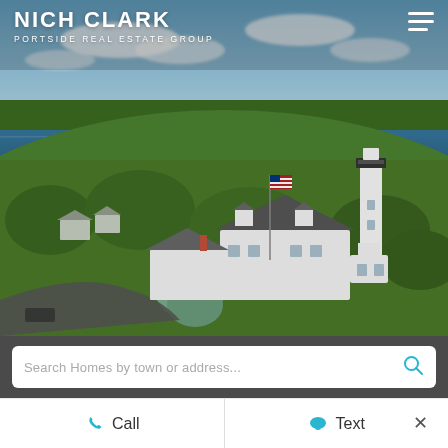NICH CLARK
PORTSIDE REAL ESTATE GROUP
[Figure (photo): Aerial drone photograph of a New England coastal community showing white clapboard houses, a tall white lighthouse, lush green trees, and a harbor with ocean in the background under a partly cloudy blue sky.]
Search Homes by town or address...
Call
Text